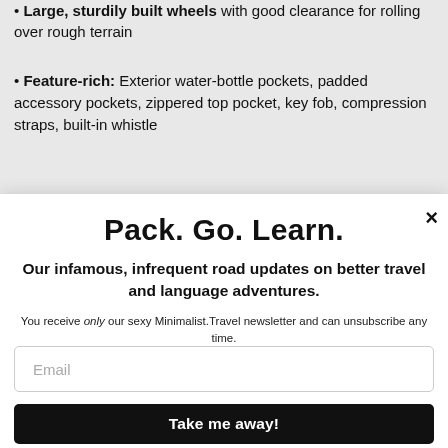Large, sturdily built wheels with good clearance for rolling over rough terrain
Feature-rich: Exterior water-bottle pockets, padded accessory pockets, zippered top pocket, key fob, compression straps, built-in whistle
Pack. Go. Learn.
Our infamous, infrequent road updates on better travel and language adventures.
You receive only our sexy Minimalist.Travel newsletter and can unsubscribe any time.
Email
Take me away!